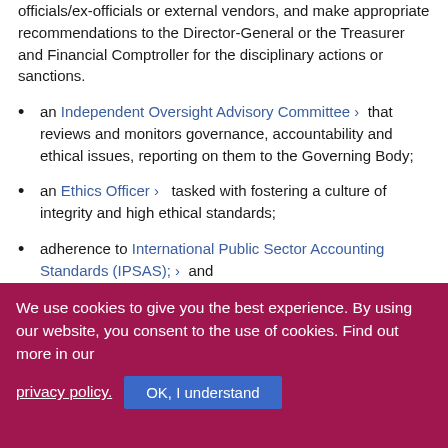officials/ex-officials or external vendors, and make appropriate recommendations to the Director-General or the Treasurer and Financial Comptroller for the disciplinary actions or sanctions.
an Independent Oversight Advisory Committee > that reviews and monitors governance, accountability and ethical issues, reporting on them to the Governing Body;
an Ethics Officer > tasked with fostering a culture of integrity and high ethical standards;
adherence to International Public Sector Accounting Standards (IPSAS); > and
collaborating with the United Nations Joint Inspection
We use cookies to give you the best experience. By using our website, you consent to the use of cookies. Find out more in our privacy policy. OK, I understand